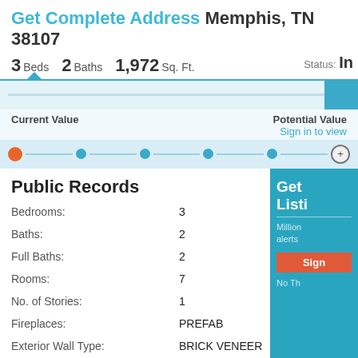Get Complete Address Memphis, TN 38107
3 Beds  2 Baths  1,972 Sq. Ft.   Status: In
[Figure (screenshot): Navigation bar with arrow indicator, value slider with colored dots (orange and blue), Current Value and Potential Value labels with Sign in to view link]
Public Records
Bedrooms: 3
Baths: 2
Full Baths: 2
Rooms: 7
No. of Stories: 1
Fireplaces: PREFAB
Exterior Wall Type: BRICK VENEER
Heating Fuel: GAS